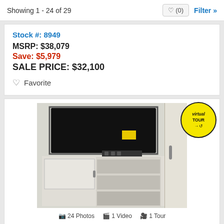Showing 1 - 24 of 29
Stock #: 8949
MSRP: $38,079
Save: $5,979
SALE PRICE: $32,100
Favorite
[Figure (photo): Interior photo of an RV showing a wall-mounted TV above white cabinet storage with shelving]
24 Photos  1 Video  1 Tour
New 2022 Forest River RV R Pod RP-202